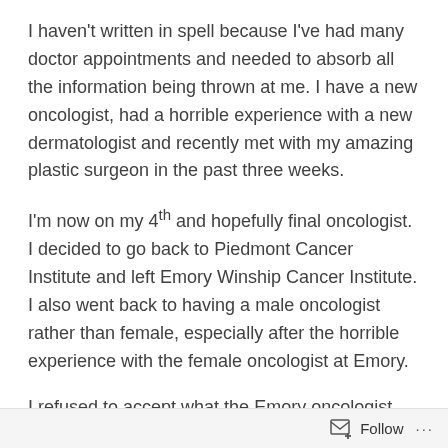I haven't written in spell because I've had many doctor appointments and needed to absorb all the information being thrown at me. I have a new oncologist, had a horrible experience with a new dermatologist and recently met with my amazing plastic surgeon in the past three weeks.
I'm now on my 4th and hopefully final oncologist. I decided to go back to Piedmont Cancer Institute and left Emory Winship Cancer Institute. I also went back to having a male oncologist rather than female, especially after the horrible experience with the female oncologist at Emory.
I refused to accept what the Emory oncologist was telling me. She said since I'm allergic to Tamoxifen,
Follow ···